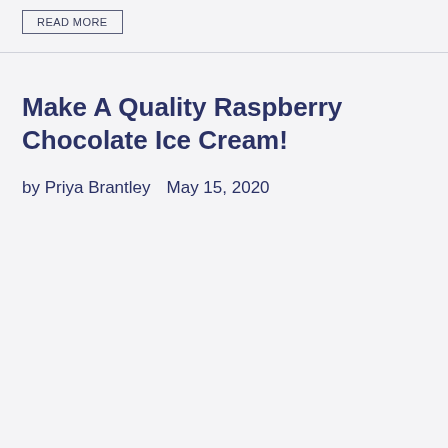READ MORE
Make A Quality Raspberry Chocolate Ice Cream!
by Priya Brantley   May 15, 2020